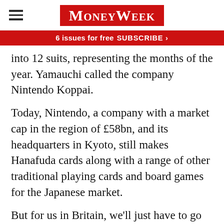MoneyWeek
6 issues for free   SUBSCRIBE >
into 12 suits, representing the months of the year. Yamauchi called the company Nintendo Koppai.
Today, Nintendo, a company with a market cap in the region of £58bn, and its headquarters in Kyoto, still makes Hanafuda cards along with a range of other traditional playing cards and board games for the Japanese market.
But for us in Britain, we'll just have to go back